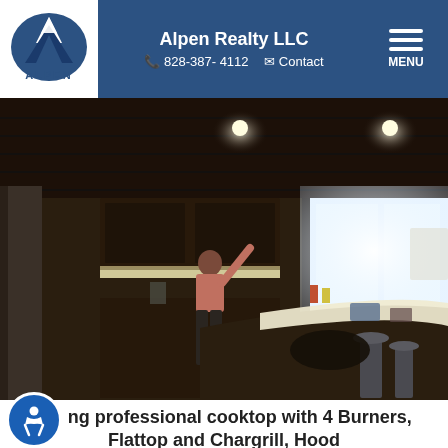Alpen Realty LLC | 828-387-4112 | Contact
[Figure (photo): Interior kitchen photo showing a dark wood ceiling with recessed lighting, a large kitchen island with a bright light-colored countertop, a person in a pink top reaching up, dark wood cabinets, and bar stools along the island.]
Viking professional cooktop with 4 Burners, Flattop and Chargrill, Hood